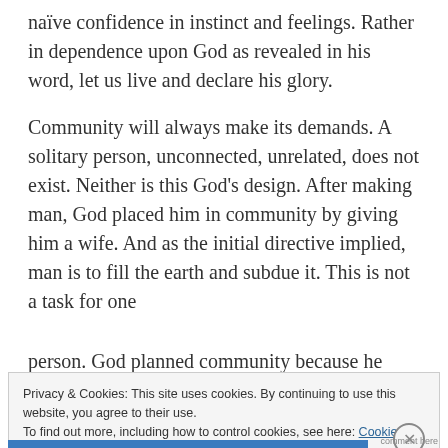naïve confidence in instinct and feelings. Rather in dependence upon God as revealed in his word, let us live and declare his glory.
Community will always make its demands. A solitary person, unconnected, unrelated, does not exist. Neither is this God's design. After making man, God placed him in community by giving him a wife. And as the initial directive implied, man is to fill the earth and subdue it. This is not a task for one person. God planned community because he knows...
Privacy & Cookies: This site uses cookies. By continuing to use this website, you agree to their use.
To find out more, including how to control cookies, see here: Cookie Policy
Close and accept